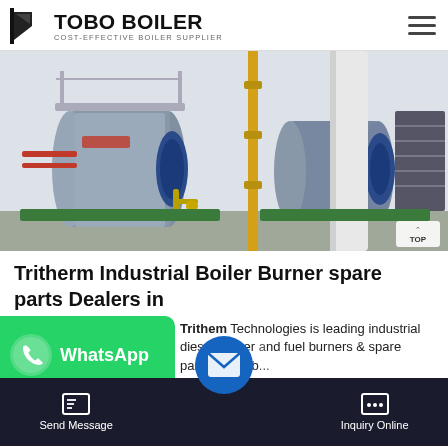TOBO BOILER — COST-EFFECTIVE BOILER SUPPLIER
[Figure (photo): Industrial boilers in a factory setting — large cylindrical gas/oil boilers with blue burner heads, yellow piping, metal platforms and stairs]
Tritherm Industrial Boiler Burner spare parts Dealers in
Tritherm Technologies is leading industrial diesel burner and fuel burners & spare parts, boiler burner, generator f...
[Figure (screenshot): WhatsApp chat widget overlay with green background and WhatsApp branding label]
[Figure (infographic): Blue circular email/message button floating above bottom toolbar]
Send Message    Inquiry Online